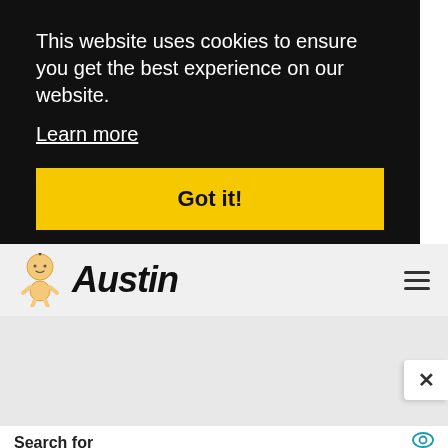This website uses cookies to ensure you get the best experience on our website.
Learn more
Got it!
[Figure (logo): Austin baby character logo with site name 'Austin' in bold italic font]
Search for
01. Healthy Snacks To Eat
02. Mediterranean Diet Foods List
Yahoo! Search | Sponsored